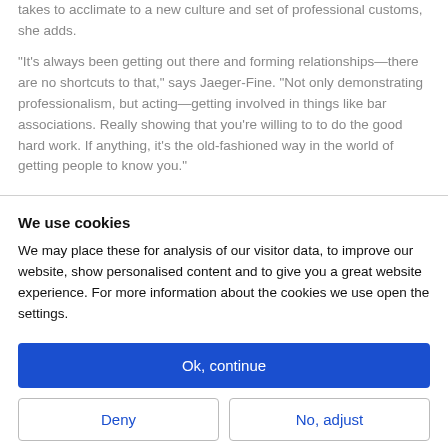takes to acclimate to a new culture and set of professional customs, she adds.
“It’s always been getting out there and forming relationships—there are no shortcuts to that,” says Jaeger-Fine. “Not only demonstrating professionalism, but acting—getting involved in things like bar associations. Really showing that you’re willing to to do the good hard work. If anything, it’s the old-fashioned way in the world of getting people to know you.”
We use cookies
We may place these for analysis of our visitor data, to improve our website, show personalised content and to give you a great website experience. For more information about the cookies we use open the settings.
Ok, continue
Deny
No, adjust